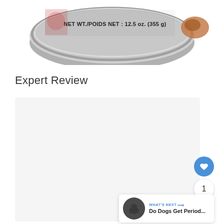[Figure (photo): Top portion of a metallic pet food can with label showing 'NET WT./POIDS NET: 12.5 oz. (355g)' and some food imagery, and a small piece of food visible on the right side.]
Expert Review
[Figure (screenshot): A light gray rectangular content box representing an embedded review widget or content area, with floating UI elements: a blue heart/like button with count '1', and a blue share button. A 'WHAT'S NEXT' card appears at bottom right showing 'Do Dogs Get Period...' with a thumbnail image.]